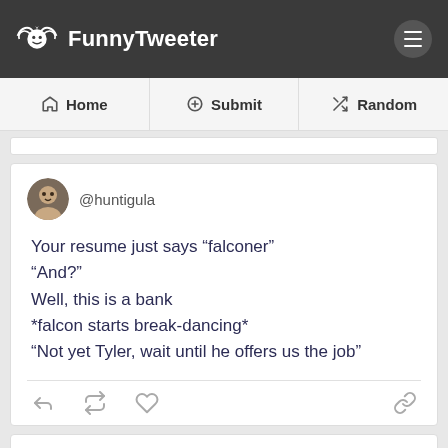FunnyTweeter — Home | Submit | Random
@huntigula

Your resume just says “falconer”
“And?”
Well, this is a bank
*falcon starts break-dancing*
“Not yet Tyler, wait until he offers us the job”
@GaryLineker